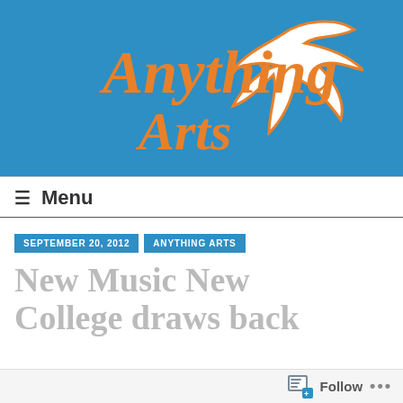[Figure (logo): Anything Arts logo on blue background with orange script text and white bird silhouette]
≡ Menu
SEPTEMBER 20, 2012   ANYTHING ARTS
New Music New College draws back